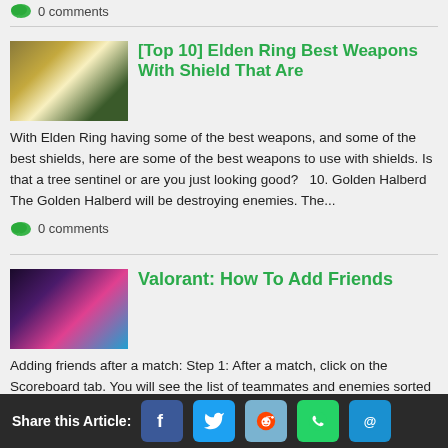0 comments
[Top 10] Elden Ring Best Weapons With Shield That Are
With Elden Ring having some of the best weapons, and some of the best shields, here are some of the best weapons to use with shields. Is that a tree sentinel or are you just looking good?   10. Golden Halberd  The Golden Halberd will be destroying enemies. The...
0 comments
Valorant: How To Add Friends
Adding friends after a match: Step 1: After a match, click on the Scoreboard tab. You will see the list of teammates and enemies sorted by average combat score, KDA, economy rating, and more. You can also do this with past games. Just review your match history by clicking
Share this Article: